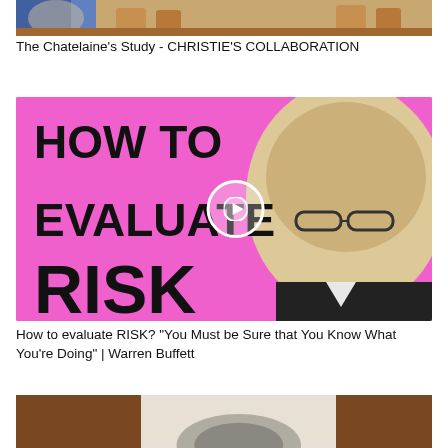[Figure (photo): Top thumbnail image showing an interior room scene with chairs and wooden floor - Chatelaine's Study Christie's Collaboration]
The Chatelaine's Study - CHRISTIE'S COLLABORATION
[Figure (photo): Video thumbnail with bright pink/magenta background showing text 'HOW TO EVALUATE RISK' in large bold black letters with a play button and a photo of Warren Buffett on the right side]
How to evaluate RISK? "You Must be Sure that You Know What You're Doing" | Warren Buffett
[Figure (photo): Bottom thumbnail showing a dark brown bordered image with a lighter center showing what appears to be a landscape or nature scene]